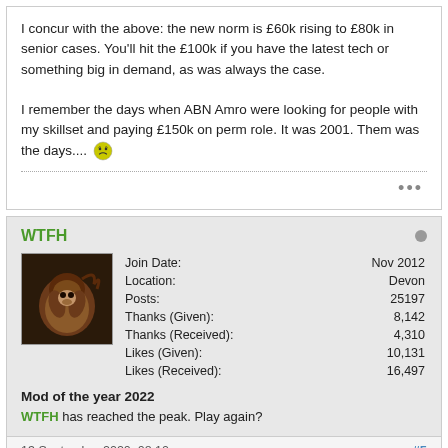I concur with the above: the new norm is £60k rising to £80k in senior cases. You'll hit the £100k if you have the latest tech or something big in demand, as was always the case.

I remember the days when ABN Amro were looking for people with my skillset and paying £150k on perm role. It was 2001. Them was the days....
WTFH
| Field | Value |
| --- | --- |
| Join Date: | Nov 2012 |
| Location: | Devon |
| Posts: | 25197 |
| Thanks (Given): | 8,142 |
| Thanks (Received): | 4,310 |
| Likes (Given): | 10,131 |
| Likes (Received): | 16,497 |
Mod of the year 2022
WTFH has reached the peak. Play again?
13 September 2020, 08:10
#5
Originally posted by ChimpMaster